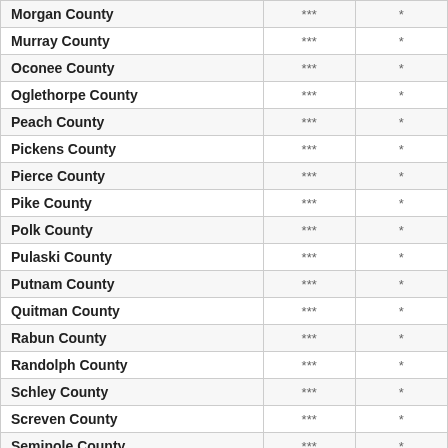|  |  |  |
| --- | --- | --- |
| Morgan County | *** | * |
| Murray County | *** | * |
| Oconee County | *** | * |
| Oglethorpe County | *** | * |
| Peach County | *** | * |
| Pickens County | *** | * |
| Pierce County | *** | * |
| Pike County | *** | * |
| Polk County | *** | * |
| Pulaski County | *** | * |
| Putnam County | *** | * |
| Quitman County | *** | * |
| Rabun County | *** | * |
| Randolph County | *** | * |
| Schley County | *** | * |
| Screven County | *** | * |
| Seminole County | *** | * |